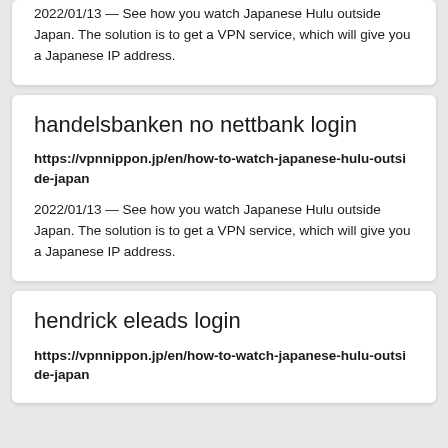2022/01/13 — See how you watch Japanese Hulu outside Japan. The solution is to get a VPN service, which will give you a Japanese IP address.
handelsbanken no nettbank login
https://vpnnippon.jp/en/how-to-watch-japanese-hulu-outside-japan
2022/01/13 — See how you watch Japanese Hulu outside Japan. The solution is to get a VPN service, which will give you a Japanese IP address.
hendrick eleads login
https://vpnnippon.jp/en/how-to-watch-japanese-hulu-outside-japan